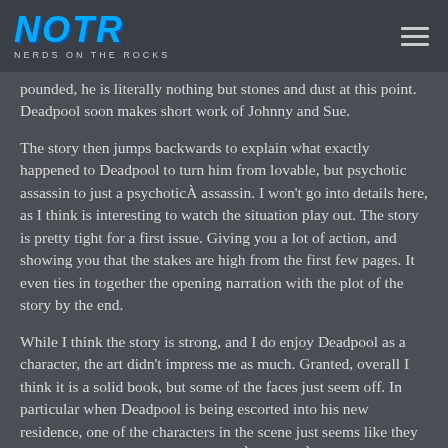NOTR NERDS ON THE ROCKS
pounded, he is literally nothing but stones and dust at this point. Deadpool soon makes short work of Johnny and Sue.
The story then jumps backwards to explain what exactly happened to Deadpool to turn him from lovable, but psychotic assassin to just a psychoticÂ assassin. I won't go into details here, as I think is interesting to watch the situation play out. The story is pretty tight for a first issue. Giving you a lot of action, and showing you that the stakes are high from the first few pages. It even ties in together the opening narration with the plot of the story by the end.
While I think the story is strong, and I do enjoy Deadpool as a character, the art didn't impress me as much. Granted, overall I think it is a solid book, but some of the faces just seem off. In particular when Deadpool is being escorted into his new residence, one of the characters in the scene just seems like they have a giant bird nose. Yes, a minorÂ quibbleÂ but it was distracting, which is a huge deal